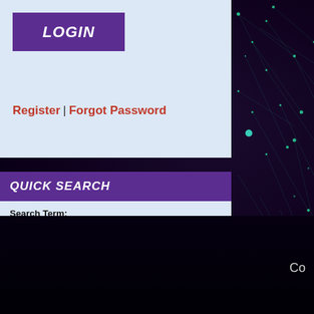[Figure (screenshot): Dark network/node background image with teal glowing nodes and connections on deep purple-black background]
LOGIN
Register | Forgot Password
QUICK SEARCH
Search Term:
Unit Name or Keyword
Seperate terms with "|" to search multiple terms
SEARCH
Co